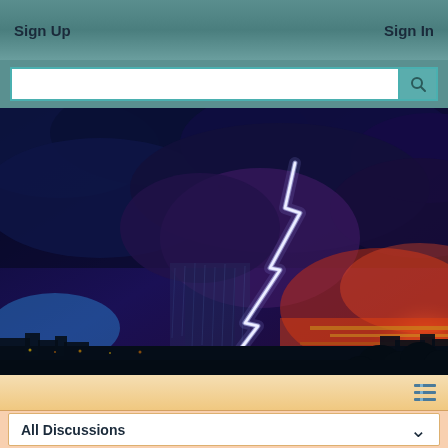Sign Up   Sign In
[Figure (screenshot): Search bar with text input field and search button icon]
[Figure (photo): Dramatic lightning storm at sunset with a large lightning bolt striking through dark blue and purple storm clouds, with red and orange sunset sky on the right side and city lights visible on the horizon]
[Figure (screenshot): Navigation bar with menu/list icon on right side, peach/tan background]
All Discussions